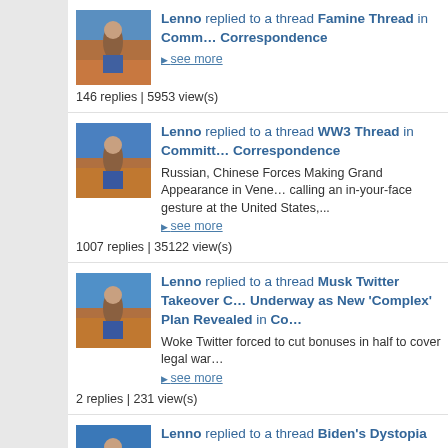Lenno replied to a thread Famine Thread in Committees of Correspondence
▶ see more
146 replies | 5953 view(s)
Lenno replied to a thread WW3 Thread in Committees of Correspondence
Russian, Chinese Forces Making Grand Appearance in Vene... calling an in-your-face gesture at the United States,...
▶ see more
1007 replies | 35122 view(s)
Lenno replied to a thread Musk Twitter Takeover Underway as New 'Complex' Plan Revealed in Co...
Woke Twitter forced to cut bonuses in half to cover legal war...
▶ see more
2 replies | 231 view(s)
Lenno replied to a thread Biden's Dystopia Thread in Committees of Correspondence
MK ULTRA NATION: Over 37 million Americans – that's over psychotropic antidepressant medication right now ...